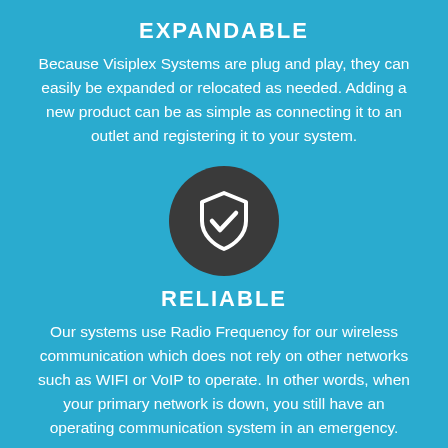EXPANDABLE
Because Visiplex Systems are plug and play, they can easily be expanded or relocated as needed. Adding a new product can be as simple as connecting it to an outlet and registering it to your system.
[Figure (illustration): Dark circular icon with a white shield and checkmark symbol]
RELIABLE
Our systems use Radio Frequency for our wireless communication which does not rely on other networks such as WIFI or VoIP to operate. In other words, when your primary network is down, you still have an operating communication system in an emergency.